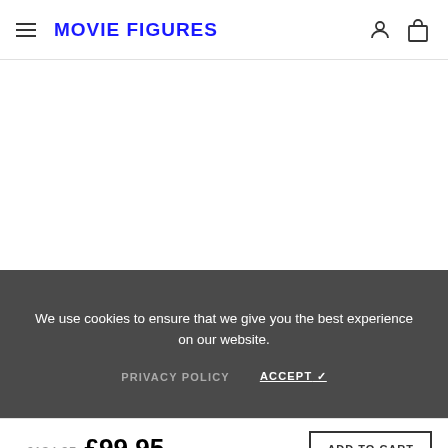MOVIE FIGURES
[Figure (screenshot): White blank content area below header]
We use cookies to ensure that we give you the best experience on our website.
PRIVACY POLICY   ACCEPT ✓
£134.95  £99.95  ADD TO CART